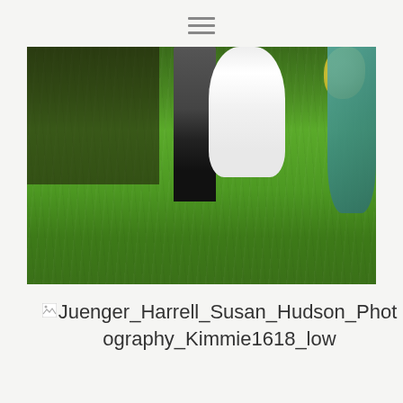[Figure (photo): Outdoor wedding ceremony photo showing lower halves of a groom in gray suit and bride in white dress walking on a green lawn, with wooden chairs and seated guests visible on the left, a teal vase and yellow flowers on the right, all on bright green grass.]
Juenger_Harrell_Susan_Hudson_Photography_Kimmie1618_low